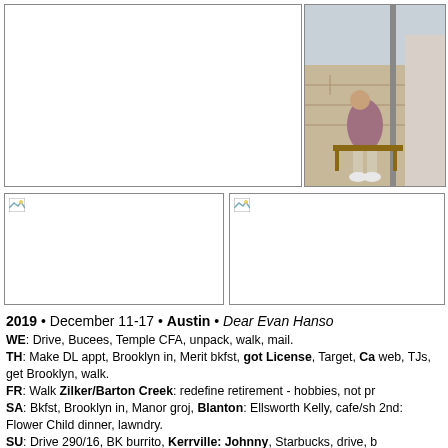[Figure (photo): Large empty white photo box on upper left]
[Figure (photo): Photo of a person sitting on a bench outdoors, stone wall background]
[Figure (photo): Left middle photo box with broken image icon]
[Figure (photo): Right middle photo box with broken image icon]
2019 • December 11-17 • Austin • Dear Evan Hanso
WE: Drive, Bucees, Temple CFA, unpack, walk, mail.
TH: Make DL appt, Brooklyn in, Merit bkfst, got License, Target, Ca web, TJs, get Brooklyn, walk.
FR: Walk Zilker/Barton Creek: redefine retirement - hobbies, not pr
SA: Bkfst, Brooklyn in, Manor groj, Blanton: Ellsworth Kelly, cafe/sh 2nd: Flower Child dinner, lawndry.
SU: Drive 290/16, BK burrito, Kerrville: Johnny, Starbucks, drive, b
MO: Bkfst, Brooklyn in, Title hassle, Whatab DP shake bkfst cawf, J Davis statue, music exhibit, Capitol: Grill, shop, chambers, Senato